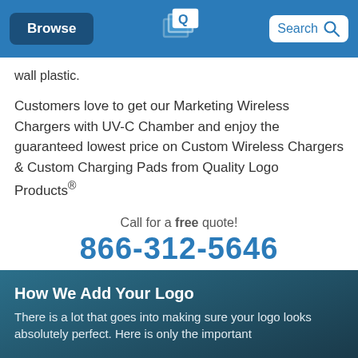[Figure (screenshot): Navigation bar with Browse button, Quality Logo Products logo, and Search box]
wall plastic.
Customers love to get our Marketing Wireless Chargers with UV-C Chamber and enjoy the guaranteed lowest price on Custom Wireless Chargers & Custom Charging Pads from Quality Logo Products®
Call for a free quote! 866-312-5646
How We Add Your Logo
There is a lot that goes into making sure your logo looks absolutely perfect. Here is only the important